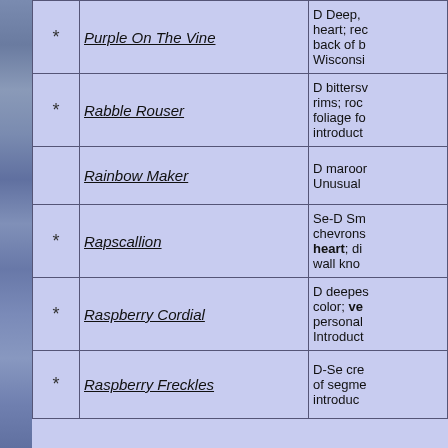| * | Name | Description |
| --- | --- | --- |
| * | Purple On The Vine | D Deep, heart; rec back of b Wisconsi |
| * | Rabble Rouser | D bittersw rims; roc foliage fo introduct |
|  | Rainbow Maker | D maroo Unusual |
| * | Rapscallion | Se-D Sm chevrons heart; di wall kno |
| * | Raspberry Cordial | D deepes color; ve personal Introduct |
| * | Raspberry Freckles | D-Se cre of segme introduc |